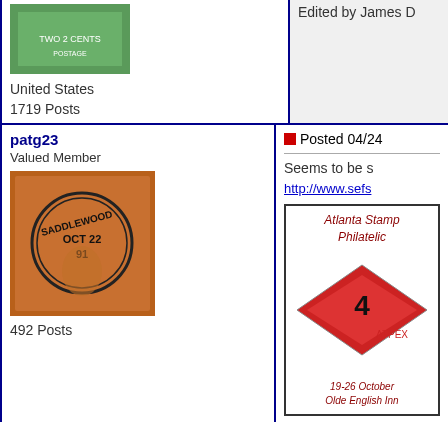[Figure (photo): Green US postage stamp showing TWO 2 CENTS]
United States
1719 Posts
Edited by James D
patg23
Valued Member
[Figure (photo): Orange vintage postage stamp with circular cancellation mark dated OCT 22 91]
492 Posts
Posted 04/24
Seems to be s
http://www.sefs
[Figure (photo): Atlanta stamp show card with red diamond design, text Atlanta Stamp Philatelic, 19-26 October, Olde English Inn]